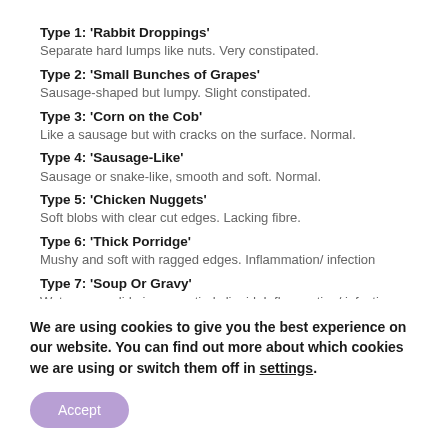Type 1: 'Rabbit Droppings'
Separate hard lumps like nuts. Very constipated.
Type 2: 'Small Bunches of Grapes'
Sausage-shaped but lumpy. Slight constipated.
Type 3: 'Corn on the Cob'
Like a sausage but with cracks on the surface. Normal.
Type 4: 'Sausage-Like'
Sausage or snake-like, smooth and soft. Normal.
Type 5: 'Chicken Nuggets'
Soft blobs with clear cut edges. Lacking fibre.
Type 6: 'Thick Porridge'
Mushy and soft with ragged edges. Inflammation/ infection
Type 7: 'Soup Or Gravy'
Watery, no solid pieces, entirely liquid. Inflammation/ infection
We are using cookies to give you the best experience on our website. You can find out more about which cookies we are using or switch them off in settings.